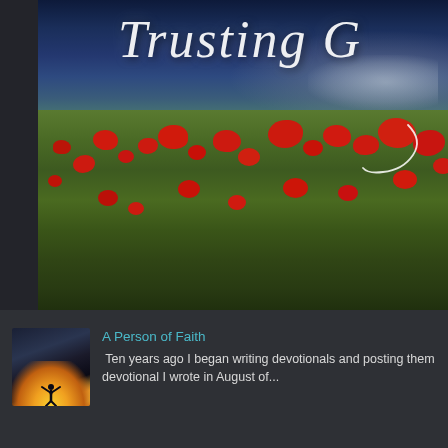[Figure (photo): Banner image showing dramatic cloudy sky over a field of red poppies with text 'Trusting G' in white italic script font with a decorative flourish]
[Figure (photo): Small thumbnail image showing a silhouette of a person with arms raised against a warm sunset/sunrise sky]
A Person of Faith
Ten years ago I began writing devotionals and posting them devotional I wrote in August of...